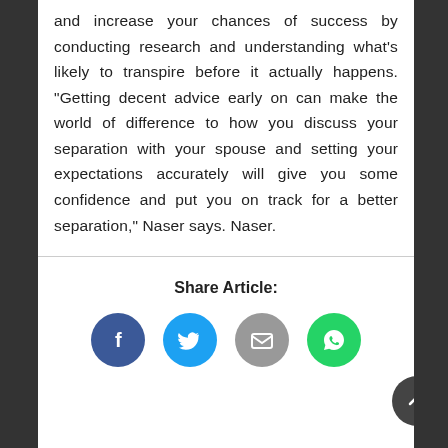and increase your chances of success by conducting research and understanding what's likely to transpire before it actually happens. “Getting decent advice early on can make the world of difference to how you discuss your separation with your spouse and setting your expectations accurately will give you some confidence and put you on track for a better separation,” Naser says. Naser.
Share Article:
[Figure (infographic): Four social share buttons: Facebook (blue circle with f), Twitter (cyan circle with bird), Email (grey circle with envelope), WhatsApp (green circle with phone). A dark grey scroll-to-top button with upward arrow at bottom right.]